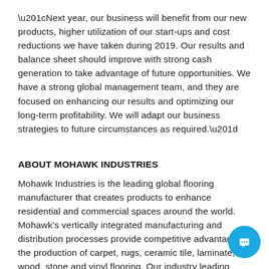“Next year, our business will benefit from our new products, higher utilization of our start-ups and cost reductions we have taken during 2019. Our results and balance sheet should improve with strong cash generation to take advantage of future opportunities. We have a strong global management team, and they are focused on enhancing our results and optimizing our long-term profitability. We will adapt our business strategies to future circumstances as required.”
ABOUT MOHAWK INDUSTRIES
Mohawk Industries is the leading global flooring manufacturer that creates products to enhance residential and commercial spaces around the world. Mohawk’s vertically integrated manufacturing and distribution processes provide competitive advantages in the production of carpet, rugs, ceramic tile, laminate, wood, stone and vinyl flooring. Our industry leading innovation has yielded products and technologies that